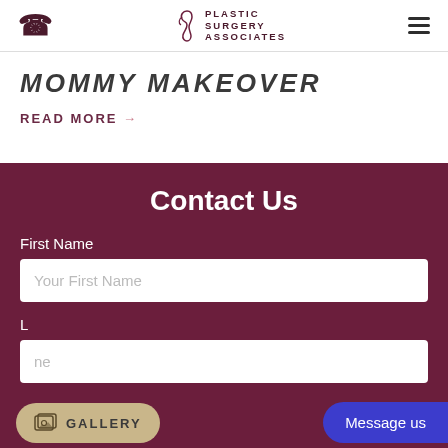Plastic Surgery Associates
MOMMY MAKEOVER
READ MORE →
Contact Us
First Name
Your First Name
Last Name
GALLERY
Message us